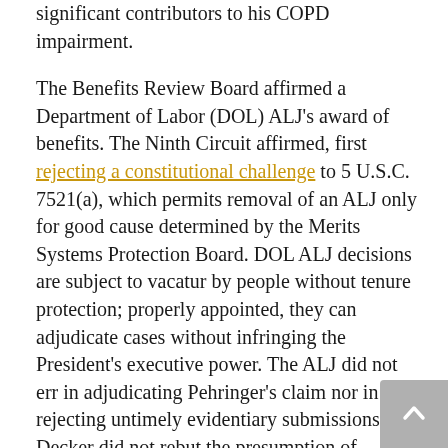significant contributors to his COPD impairment.

The Benefits Review Board affirmed a Department of Labor (DOL) ALJ's award of benefits. The Ninth Circuit affirmed, first rejecting a constitutional challenge to 5 U.S.C. 7521(a), which permits removal of an ALJ only for good cause determined by the Merits Systems Protection Board. DOL ALJ decisions are subject to vacatur by people without tenure protection; properly appointed, they can adjudicate cases without infringing the President's executive power. The ALJ did not err in adjudicating Pehringer's claim nor in rejecting untimely evidentiary submissions. Decker did not rebut the presumption of entitlement to benefits after a claimant established legal pneumoconiosis and causation, having worked for at least 15 years in substantially similar conditions to underground